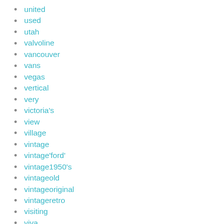united
used
utah
valvoline
vancouver
vans
vegas
vertical
very
victoria's
view
village
vintage
vintage'ford'
vintage1950's
vintageold
vintageoriginal
vintageretro
visiting
viva